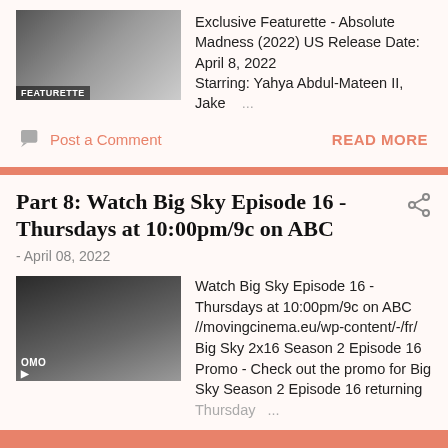[Figure (photo): Featurette thumbnail showing a woman, with FEATURETTE label overlay]
Exclusive Featurette - Absolute Madness (2022) US Release Date: April 8, 2022 Starring: Yahya Abdul-Mateen II, Jake …
Post a Comment
READ MORE
Part 8: Watch Big Sky Episode 16 - Thursdays at 10:00pm/9c on ABC
- April 08, 2022
[Figure (photo): Big Sky promo thumbnail showing women, with PROMO label overlay]
Watch Big Sky Episode 16 - Thursdays at 10:00pm/9c on ABC //movingcinema.eu/wp-content/-/fr/ Big Sky 2x16 Season 2 Episode 16 Promo - Check out the promo for Big Sky Season 2 Episode 16 returning Thursday …